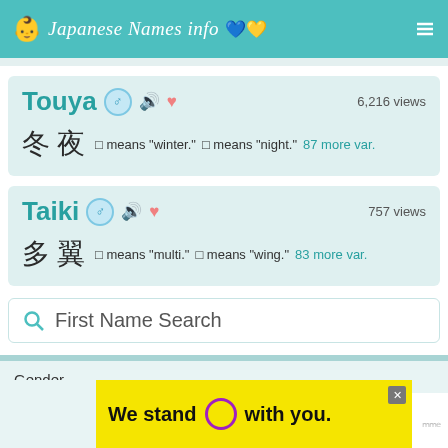Japanese Names info
Touya
冬 夜  □ means "winter."  □ means "night."  87 more var.
Taiki
多 翼  □ means "multi."  □ means "wing."  83 more var.
First Name Search
Gender
[Figure (screenshot): Ad banner: 'We stand O with you.' in bold black on yellow background with purple circle and X close button]